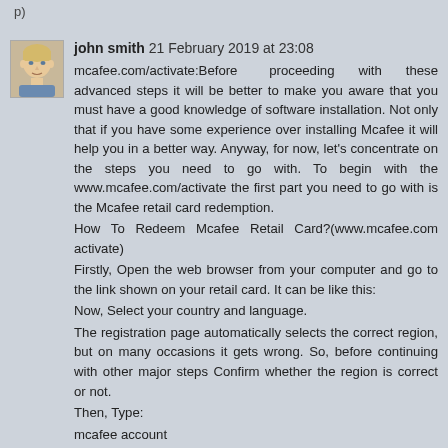john smith 21 February 2019 at 23:08
mcafee.com/activate:Before proceeding with these advanced steps it will be better to make you aware that you must have a good knowledge of software installation. Not only that if you have some experience over installing Mcafee it will help you in a better way. Anyway, for now, let's concentrate on the steps you need to go with. To begin with the www.mcafee.com/activate the first part you need to go with is the Mcafee retail card redemption.
How To Redeem Mcafee Retail Card?(www.mcafee.com activate)
Firstly, Open the web browser from your computer and go to the link shown on your retail card. It can be like this:
Now, Select your country and language.
The registration page automatically selects the correct region, but on many occasions it gets wrong. So, before continuing with other major steps Confirm whether the region is correct or not.
Then, Type:
mcafee account